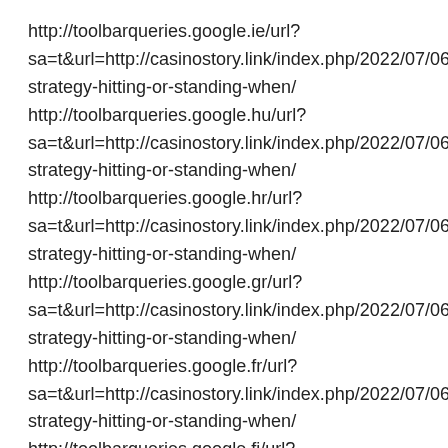http://toolbarqueries.google.ie/url?
sa=t&url=http://casinostory.link/index.php/2022/07/06/blackja
strategy-hitting-or-standing-when/
http://toolbarqueries.google.hu/url?
sa=t&url=http://casinostory.link/index.php/2022/07/06/blackja
strategy-hitting-or-standing-when/
http://toolbarqueries.google.hr/url?
sa=t&url=http://casinostory.link/index.php/2022/07/06/blackja
strategy-hitting-or-standing-when/
http://toolbarqueries.google.gr/url?
sa=t&url=http://casinostory.link/index.php/2022/07/06/blackja
strategy-hitting-or-standing-when/
http://toolbarqueries.google.fr/url?
sa=t&url=http://casinostory.link/index.php/2022/07/06/blackja
strategy-hitting-or-standing-when/
http://toolbarqueries.google.fi/url?